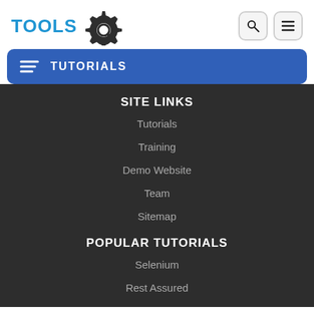[Figure (logo): ToolsQA logo with blue TOOLS text and gear/magnifier icon]
TUTORIALS
SITE LINKS
Tutorials
Training
Demo Website
Team
Sitemap
POPULAR TUTORIALS
Selenium
Rest Assured